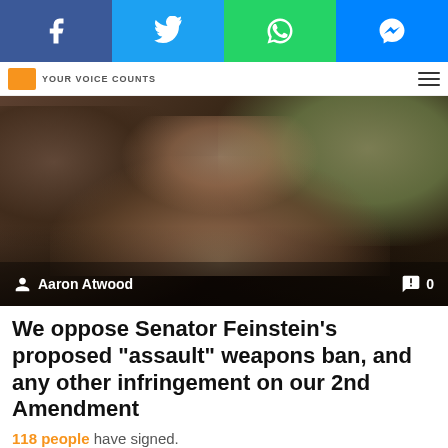[Figure (screenshot): Social media share bar with Facebook, Twitter, WhatsApp, and Messenger buttons]
YOUR VOICE COUNTS
[Figure (photo): Multiple hands joined together in a circle, unity gesture, dark moody lighting with olive/green fabric visible]
Aaron Atwood  💬 0
We oppose Senator Feinstein's proposed "assault" weapons ban, and any other infringement on our 2nd Amendment
118 people have signed.
SIGN PETITION